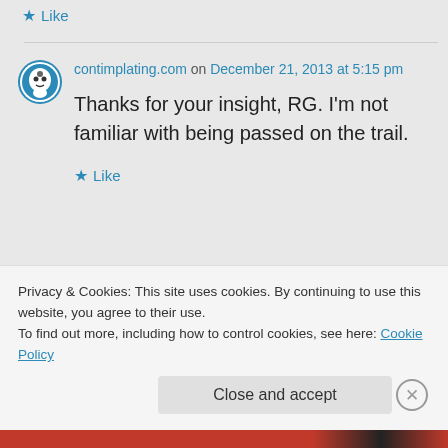★ Like
contimplating.com on December 21, 2013 at 5:15 pm
Thanks for your insight, RG. I'm not familiar with being passed on the trail.
★ Like
Privacy & Cookies: This site uses cookies. By continuing to use this website, you agree to their use. To find out more, including how to control cookies, see here: Cookie Policy
Close and accept